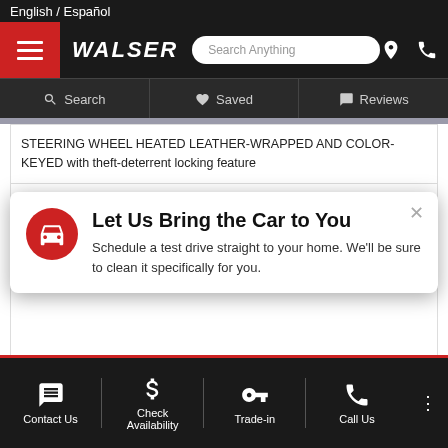English / Español
[Figure (screenshot): Walser dealership website navigation bar with hamburger menu, WALSER logo, search box, location and phone icons]
Search   Saved   Reviews
STEERING WHEEL HEATED LEATHER-WRAPPED AND COLOR-KEYED with theft-deterrent locking feature
ENGINE VORTEC 5.3L V8 SFI FLEXFUEL with Active Fuel Management capable of running on unleaded or up to 85% ethanol (with gas - 320 hp
Let Us Bring the Car to You
Schedule a test drive straight to your home. We'll be sure to clean it specifically for you.
cooler increased capacity radiator and cooling fans and (NQH) transfer case active 2-speed.
ONYX BLACK
Contact Us   Check Availability   Trade-in   Call Us